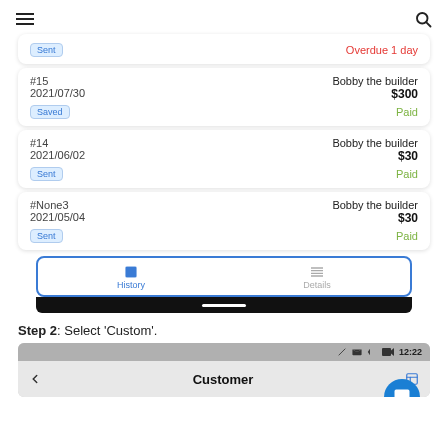≡  🔍
Sent | Overdue 1 day
#15  Bobby the builder  2021/07/30  $300  Saved  Paid
#14  Bobby the builder  2021/06/02  $30  Sent  Paid
#None3  Bobby the builder  2021/05/04  $30  Sent  Paid
[Figure (screenshot): Tab bar with History (active, blue) and Details tabs]
Step 2: Select 'Custom'.
[Figure (screenshot): Mobile screenshot showing Customer screen header with back arrow and print icon, status bar 12:22]